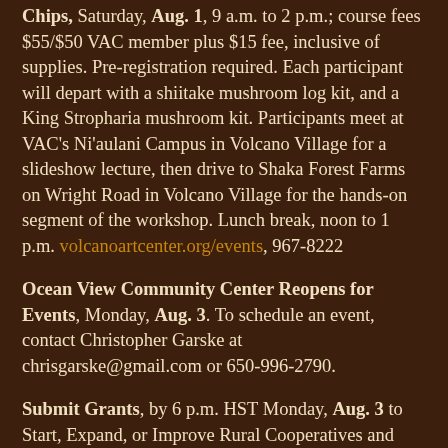Chips, Saturday, Aug. 1, 9 a.m. to 2 p.m.; course fees $55/$50 VAC member plus $15 fee, inclusive of supplies. Pre-registration required. Each participant will depart with a shiitake mushroom log kit, and a King Stropharia mushroom kit. Participants meet at VAC's Ni'aulani Campus in Volcano Village for a slideshow lecture, then drive to Shaka Forest Farms on Wright Road in Volcano Village for the hands-on segment of the workshop. Lunch break, noon to 1 p.m. volcanoartcenter.org/events, 967-8222
Ocean View Community Center Reopens for Events, Monday, Aug. 3. To schedule an event, contact Christopher Garske at chrisgarske@gmail.com or 650-996-2790.
Submit Grants, by 6 p.m. HST Monday, Aug. 3 to Start, Expand, or Improve Rural Cooperatives and other mutually-owned businesses in rural America from USDA to grants.gov. Key strategies include Achieving e-Connectivity for Rural America, Developing the Rural Economy, Harnessing Technological Innovation, Supporting a Rural Workforce, and Improving Quality of Life. Nonprofit corporations and institutions of higher education are eligible to apply...